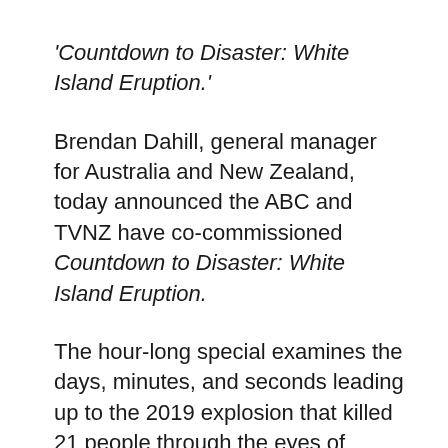'Countdown to Disaster: White Island Eruption.'
Brendan Dahill, general manager for Australia and New Zealand, today announced the ABC and TVNZ have co-commissioned Countdown to Disaster: White Island Eruption.
The hour-long special examines the days, minutes, and seconds leading up to the 2019 explosion that killed 21 people through the eyes of survivors, rescue workers and the scientists who have been